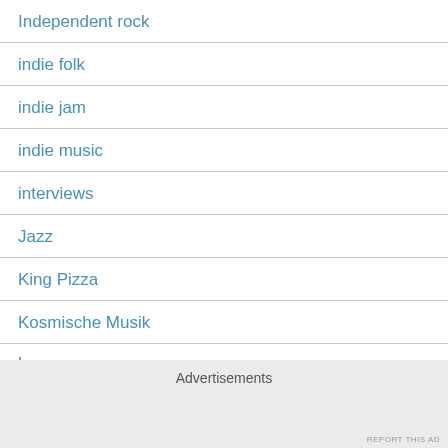Independent rock
indie folk
indie jam
indie music
interviews
Jazz
King Pizza
Kosmische Musik
Advertisements